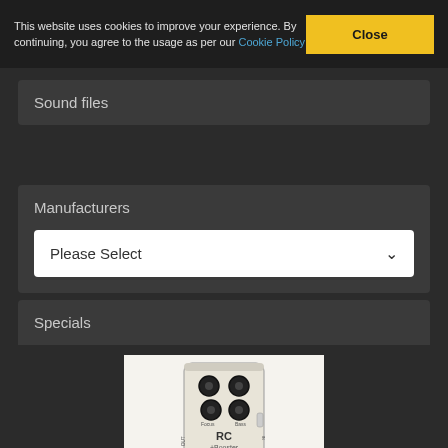This website uses cookies to improve your experience. By continuing, you agree to the usage as per our Cookie Policy
Close
Sound files
Manufacturers
Please Select
Specials
[Figure (photo): RC Booster guitar effects pedal with knobs for Treble, Bass, Focus controls and a toggle switch]